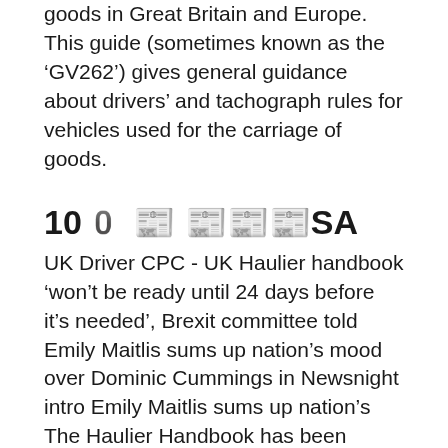goods in Great Britain and Europe. This guide (sometimes known as the ‘GV262’) gives general guidance about drivers’ and tachograph rules for vehicles used for the carriage of goods.
100️ 📰 📰📰📰SA
UK Driver CPC - UK Haulier handbook 'won't be ready until 24 days before it's needed', Brexit committee told Emily Maitlis sums up nation's mood over Dominic Cummings in Newsnight intro Emily Maitlis sums up nation's The Haulier Handbook has been published, alongside the ‘official’ launch of the 45+ Haulier Information and Advice Sites around the UK. Staff at these sites will offer multi-lingual advice, training and support to hauliers to help prepare them for the end of the Transition period